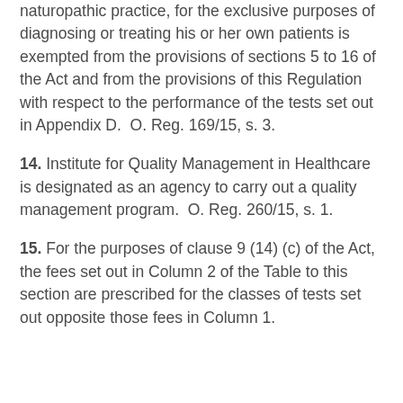naturopathic practice, for the exclusive purposes of diagnosing or treating his or her own patients is exempted from the provisions of sections 5 to 16 of the Act and from the provisions of this Regulation with respect to the performance of the tests set out in Appendix D.  O. Reg. 169/15, s. 3.
14. Institute for Quality Management in Healthcare is designated as an agency to carry out a quality management program.  O. Reg. 260/15, s. 1.
15. For the purposes of clause 9 (14) (c) of the Act, the fees set out in Column 2 of the Table to this section are prescribed for the classes of tests set out opposite those fees in Column 1.